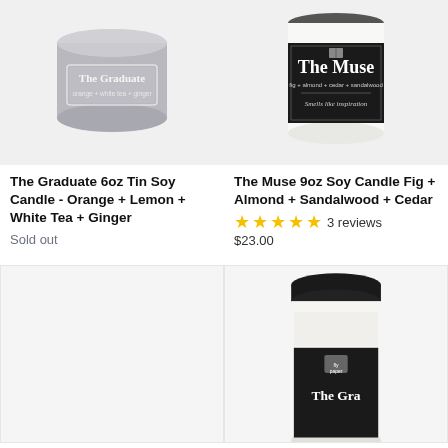[Figure (photo): Gray tin soy candle labeled 'The Graduate' with text 'orange + white tea + ginger']
The Graduate 6oz Tin Soy Candle - Orange + Lemon + White Tea + Ginger
Sold out
[Figure (photo): Black glass jar soy candle labeled 'The Muse' with text 'fig + almond + cedar + sandalwood' and 'Smells like inspiration']
The Muse 9oz Soy Candle Fig + Almond + Sandalwood + Cedar
★★★★★ 3 reviews
$23.00
[Figure (photo): Empty placeholder product image area]
[Figure (photo): Black-lidded glass jar candle with Fly Paper brand label, partially visible, appearing to be another candle product]